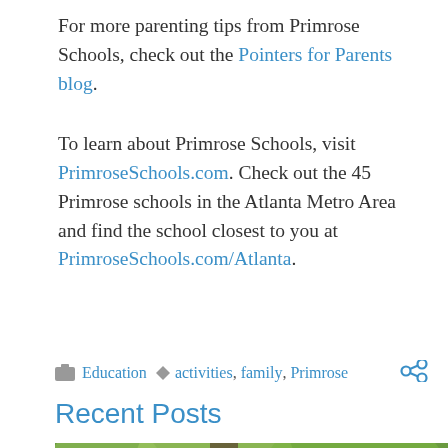For more parenting tips from Primrose Schools, check out the Pointers for Parents blog.
To learn about Primrose Schools, visit PrimroseSchools.com. Check out the 45 Primrose schools in the Atlanta Metro Area and find the school closest to you at PrimroseSchools.com/Atlanta.
Education  activities, family, Primrose
Recent Posts
[Figure (photo): A woman with brown hair leans over a young child. They appear to be outdoors with green trees and bokeh background.]